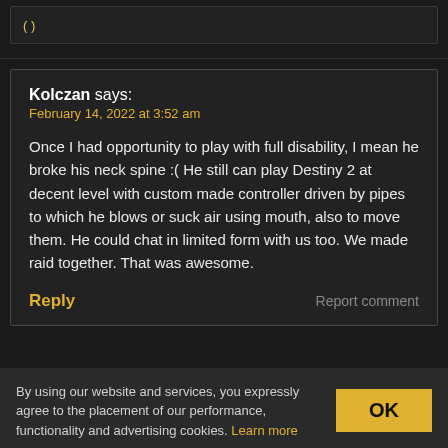( )
Kolczan says:
February 14, 2022 at 3:52 am

Once I had opportunity to play with full disability, I mean he broke his neck spine :( He still can play Destiny 2 at decent level with custom made controller driven by pipes to which he blows or suck air using mouth, also to move them. He could chat in limited form with us too. We made raid together. That was awesome.
Reply
Report comment
By using our website and services, you expressly agree to the placement of our performance, functionality and advertising cookies. Learn more
OK